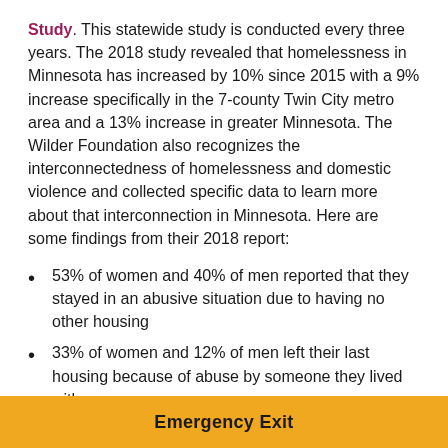Study. This statewide study is conducted every three years. The 2018 study revealed that homelessness in Minnesota has increased by 10% since 2015 with a 9% increase specifically in the 7-county Twin City metro area and a 13% increase in greater Minnesota. The Wilder Foundation also recognizes the interconnectedness of homelessness and domestic violence and collected specific data to learn more about that interconnection in Minnesota. Here are some findings from their 2018 report:
53% of women and 40% of men reported that they stayed in an abusive situation due to having no other housing
33% of women and 12% of men left their last housing because of abuse by someone they lived with
31% of women and 18% of the men reported
Emergency Exit